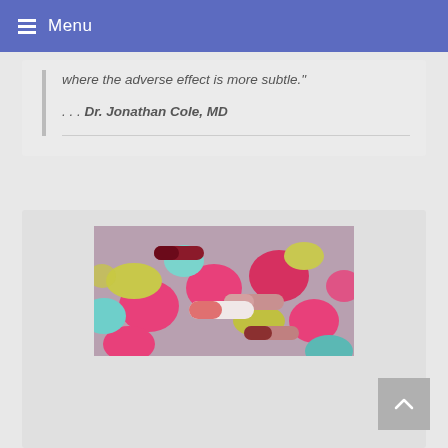Menu
where the adverse effect is more subtle."
. . . Dr. Jonathan Cole, MD
[Figure (photo): Close-up photograph of a pile of colorful pills and capsules in pink, white, teal, yellow, and maroon colors.]